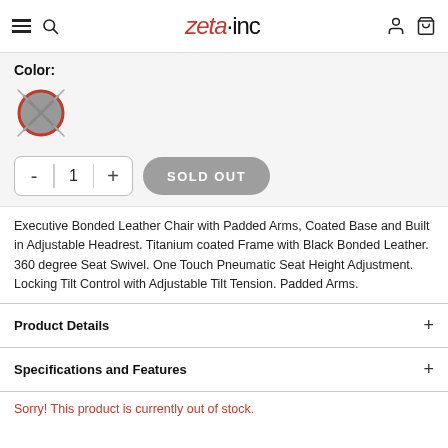zeta·inc — navigation header with hamburger menu, search, account, and cart icons
Color:
[Figure (illustration): Gray color swatch circle with red border and X mark indicating sold out / unavailable color]
[Figure (other): Quantity selector showing minus button, 1, plus button; and a gray SOLD OUT rounded button]
Executive Bonded Leather Chair with Padded Arms, Coated Base and Built in Adjustable Headrest. Titanium coated Frame with Black Bonded Leather. 360 degree Seat Swivel. One Touch Pneumatic Seat Height Adjustment. Locking Tilt Control with Adjustable Tilt Tension. Padded Arms.
Product Details
Specifications and Features
Sorry! This product is currently out of stock.